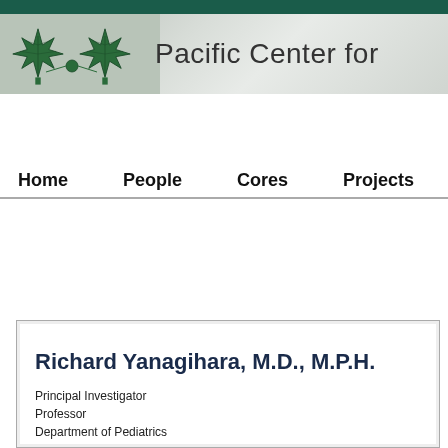[Figure (logo): Pacific Center for organization logo with green maple leaf icons and banner text reading 'Pacific Center for']
Home   People   Cores   Projects   P
Richard Yanagihara, M.D., M.P.H.
Principal Investigator
Professor
Department of Pediatrics